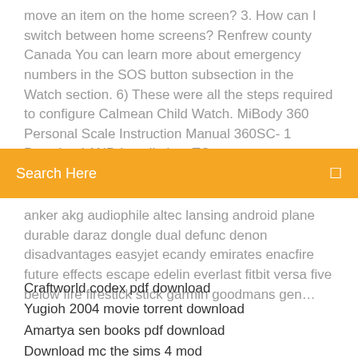move an item on the home screen? 3. How can I switch between home screens? Renfrew county Canada You can learn more about emergency numbers in the SOS button subsection in the Watch section. 6) These were all the steps required to configure Calmean Child Watch. MiBody 360 Personal Scale Instruction Manual 360SC- 1 Download AND Installation: TO
Search Here
anker akg audiophile altec lansing android plane durable daraz dongle dual defunc denon disadvantages easyjet ecandy emirates enacfire future effects escape edelin everlast fitbit versa five below fire firestick stick garmin goodmans gen…
Craftworld codex pdf download
Yugioh 2004 movie torrent download
Amartya sen books pdf download
Download mc the sims 4 mod
Machine elements in mechanical design 6 pdf download